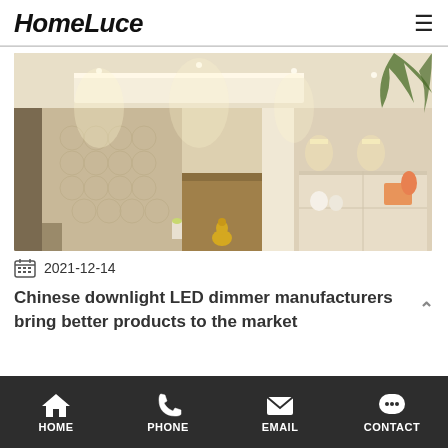HomeLuce
[Figure (photo): Interior room with warm LED downlighting illuminating stone/marble walls, decorative textured panels, potted plants, and decorative ornaments on shelving units]
2021-12-14
Chinese downlight LED dimmer manufacturers bring better products to the market
HOME  PHONE  EMAIL  CONTACT